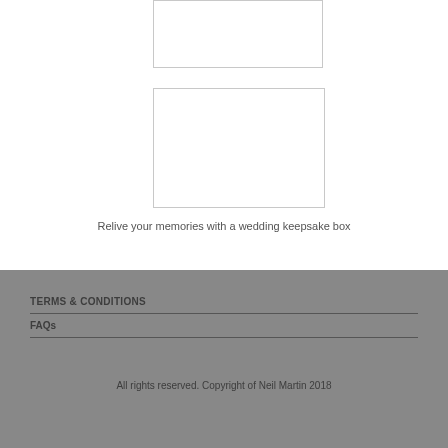[Figure (photo): Top image placeholder box (partially visible, cropped at top)]
[Figure (photo): Main image placeholder box for wedding keepsake box]
Relive your memories with a wedding keepsake box
TERMS & CONDITIONS
FAQs
All rights reserved. Copyright of Neil Martin 2018